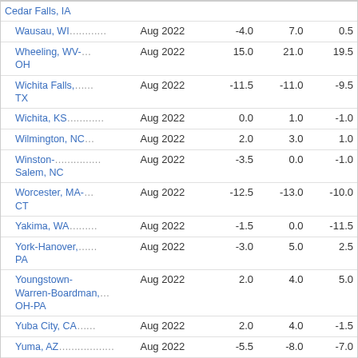| Area | Date | Col1 | Col2 | Col3 |
| --- | --- | --- | --- | --- |
| Cedar Falls, IA |  |  |  |  |
| Wausau, WI | Aug 2022 | -4.0 | 7.0 | 0.5 |
| Wheeling, WV-OH | Aug 2022 | 15.0 | 21.0 | 19.5 |
| Wichita Falls, TX | Aug 2022 | -11.5 | -11.0 | -9.5 |
| Wichita, KS | Aug 2022 | 0.0 | 1.0 | -1.0 |
| Wilmington, NC | Aug 2022 | 2.0 | 3.0 | 1.0 |
| Winston-Salem, NC | Aug 2022 | -3.5 | 0.0 | -1.0 |
| Worcester, MA-CT | Aug 2022 | -12.5 | -13.0 | -10.0 |
| Yakima, WA | Aug 2022 | -1.5 | 0.0 | -11.5 |
| York-Hanover, PA | Aug 2022 | -3.0 | 5.0 | 2.5 |
| Youngstown-Warren-Boardman, OH-PA | Aug 2022 | 2.0 | 4.0 | 5.0 |
| Yuba City, CA | Aug 2022 | 2.0 | 4.0 | -1.5 |
| Yuma, AZ | Aug 2022 | -5.5 | -8.0 | -7.0 |